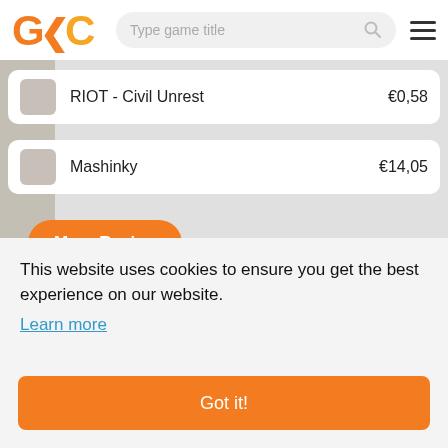[Figure (logo): GKC logo with orange letters]
Type game title
RIOT - Civil Unrest   €0,58
Mashinky   €14,05
More Racing
This website uses cookies to ensure you get the best experience on our website.
Learn more
Got it!